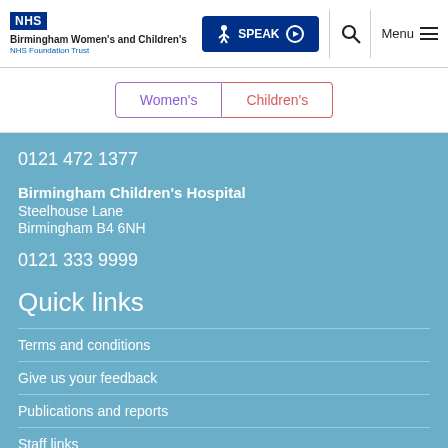[Figure (logo): NHS logo and Birmingham Women's and Children's NHS Foundation Trust text]
SPEAK
Women's | Children's
0121 472 1377
Birmingham Children's Hospital
Steelhouse Lane
Birmingham B4 6NH
0121 333 9999
Quick links
Terms and conditions
Give us your feedback
Publications and reports
Staff links